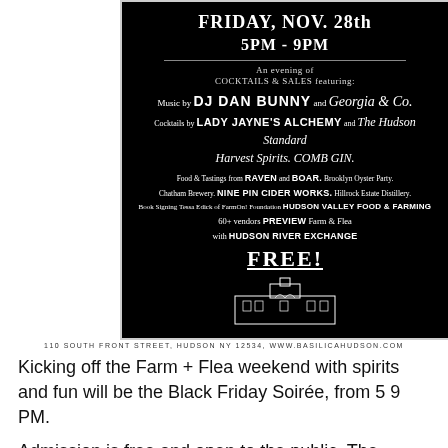[Figure (infographic): Black Friday Soirée event flyer on black background with event details including date Friday Nov. 28th 5PM-9PM, featuring DJ Dan Bunny, Georgia & Co., Lady Jayne's Alchemy, The Hudson Standard, Harvest Spirits, COMB GIN, food from Raven and Boar, Brooklyn Oyster Party, Chatham Brewery, Nine Pin Cider Works, Hillrock Estate Distillery, book signing by Tessa Edick, 60+ vendors, Hudson River Exchange, FREE admission. Basilica Hudson logo at bottom.]
Kicking off the Farm + Flea weekend with spirits and fun will be the Black Friday Soirée, from 5  9 PM.
Admission is free and open to the public. The